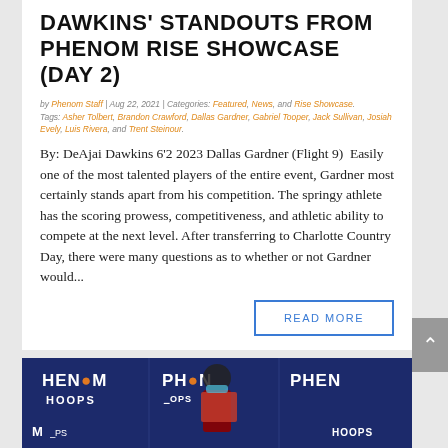DAWKINS' STANDOUTS FROM PHENOM RISE SHOWCASE (DAY 2)
by Phenom Staff | Aug 22, 2021 | Categories: Featured, News, and Rise Showcase. Tags: Asher Tolbert, Brandon Crawford, Dallas Gardner, Gabriel Tooper, Jack Sullivan, Josiah Evely, Luis Rivera, and Trent Steinour.
By: DeAjai Dawkins 6'2 2023 Dallas Gardner (Flight 9) Easily one of the most talented players of the entire event, Gardner most certainly stands apart from his competition. The springy athlete has the scoring prowess, competitiveness, and athletic ability to compete at the next level. After transferring to Charlotte Country Day, there were many questions as to whether or not Gardner would...
READ MORE
[Figure (photo): Basketball player standing in front of Phenom Hoops branded backdrop/banner]